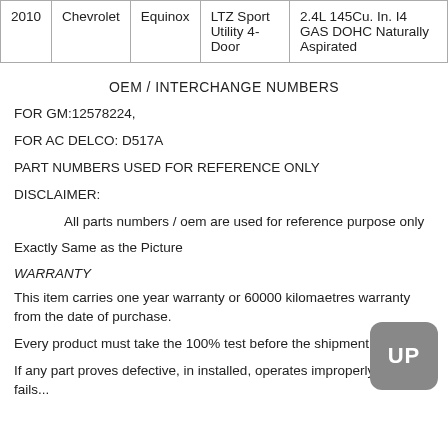| Year | Make | Model | Submodel | Engine |
| --- | --- | --- | --- | --- |
| 2010 | Chevrolet | Equinox | LTZ Sport Utility 4-Door | 2.4L 145Cu. In. I4 GAS DOHC Naturally Aspirated |
OEM / INTERCHANGE NUMBERS
FOR GM:12578224,
FOR AC DELCO: D517A
PART NUMBERS USED FOR REFERENCE ONLY
DISCLAIMER:
All parts numbers / oem are used for reference purpose only
Exactly Same as the Picture
WARRANTY
This item carries one year warranty or 60000 kilomaetres warranty from the date of purchase.
Every product must take the 100% test before the shipment.
If any part proves defective, in installed, operates improperly, and then fails...